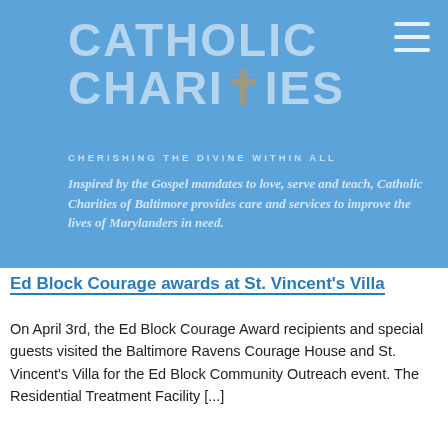[Figure (logo): Catholic Charities logo with cross symbol in light blue on blue background]
CHERISHING THE DIVINE WITHIN ALL
Inspired by the Gospel mandates to love, serve and teach, Catholic Charities of Baltimore provides care and services to improve the lives of Marylanders in need.
Ed Block Courage awards at St. Vincent's Villa
On April 3rd, the Ed Block Courage Award recipients and special guests visited the Baltimore Ravens Courage House and St. Vincent's Villa for the Ed Block Community Outreach event. The Residential Treatment Facility [...]